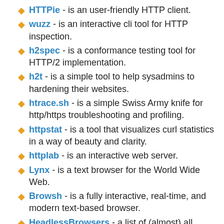HTTPie - is an user-friendly HTTP client.
wuzz - is an interactive cli tool for HTTP inspection.
h2spec - is a conformance testing tool for HTTP/2 implementation.
h2t - is a simple tool to help sysadmins to hardening their websites.
htrace.sh - is a simple Swiss Army knife for http/https troubleshooting and profiling.
httpstat - is a tool that visualizes curl statistics in a way of beauty and clarity.
httplab - is an interactive web server.
Lynx - is a text browser for the World Wide Web.
Browsh - is a fully interactive, real-time, and modern text-based browser.
HeadlessBrowsers - a list of (almost) all headless web browsers in existence.